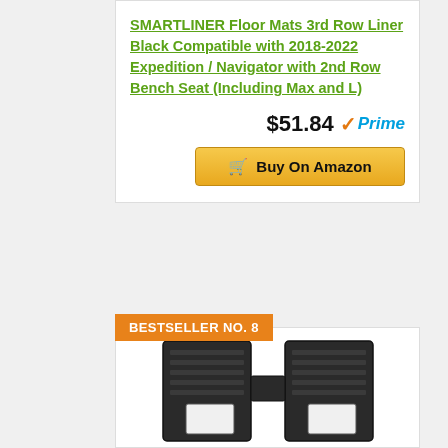SMARTLINER Floor Mats 3rd Row Liner Black Compatible with 2018-2022 Expedition / Navigator with 2nd Row Bench Seat (Including Max and L)
$51.84
[Figure (logo): Amazon Prime badge with orange checkmark and blue Prime text]
Buy On Amazon
BESTSELLER NO. 8
[Figure (photo): Black rubber floor mat for 3rd row, showing two connected pieces with ridged texture and cutouts]